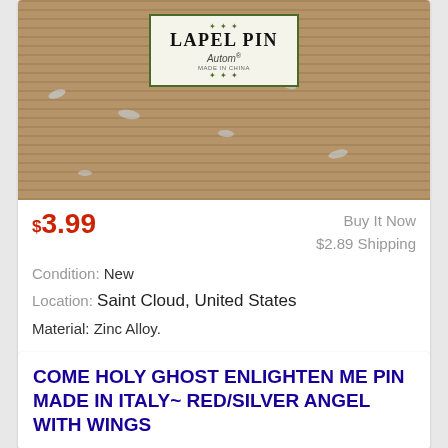[Figure (photo): Close-up photo of a lapel pin on a wooden surface, showing a label that reads LAPEL PIN Autom, Made in China]
$3.99
Buy It Now
$2.89 Shipping
Condition: New
Location: Saint Cloud, United States
Material: Zinc Alloy.
COME HOLY GHOST ENLIGHTEN ME PIN MADE IN ITALY~ RED/SILVER ANGEL WITH WINGS
[Figure (photo): Partial photo showing a beige/tan background, likely the product]